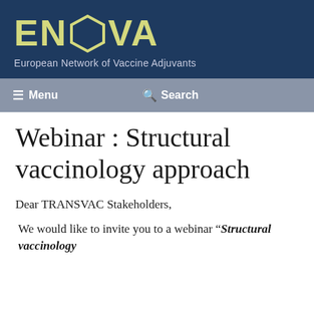[Figure (logo): ENOVA logo with hexagon shape between EN and VA, dark navy background, olive/yellow-green text. Subtitle: European Network of Vaccine Adjuvants]
Menu  Search
Webinar : Structural vaccinology approach
Dear TRANSVAC Stakeholders,
We would like to invite you to a webinar “Structural vaccinology